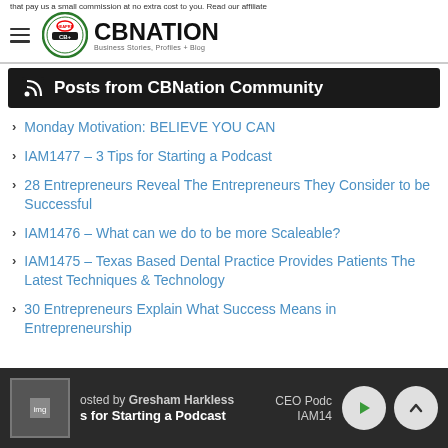that pay us a small commission at no extra cost to you. Read our affiliate
[Figure (logo): CBNation logo with circular badge and text 'CBNATION Business Stories, Profiles + Blog']
Posts from CBNation Community
Monday Motivation: BELIEVE YOU CAN
IAM1477 – 3 Tips for Starting a Podcast
28 Entrepreneurs Reveal The Entrepreneurs They Consider to be Successful
IAM1476 – What can we do to be more Scaleable?
IAM1475 – Texas Based Dental Practice Provides Patients The Latest Techniques & Technology
30 Entrepreneurs Explain What Success Means in Entrepreneurship
Hosted by Gresham Harkless | s for Starting a Podcast | CEO Podc | IAM14